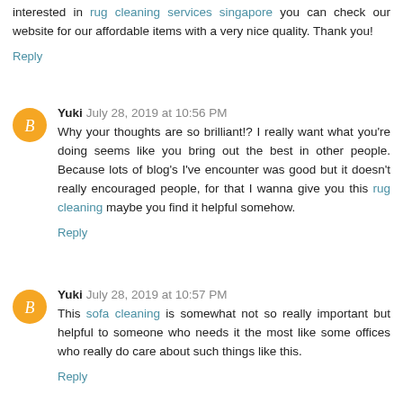interested in rug cleaning services singapore you can check our website for our affordable items with a very nice quality. Thank you!
Reply
Yuki July 28, 2019 at 10:56 PM
Why your thoughts are so brilliant!? I really want what you're doing seems like you bring out the best in other people. Because lots of blog's I've encounter was good but it doesn't really encouraged people, for that I wanna give you this rug cleaning maybe you find it helpful somehow.
Reply
Yuki July 28, 2019 at 10:57 PM
This sofa cleaning is somewhat not so really important but helpful to someone who needs it the most like some offices who really do care about such things like this.
Reply